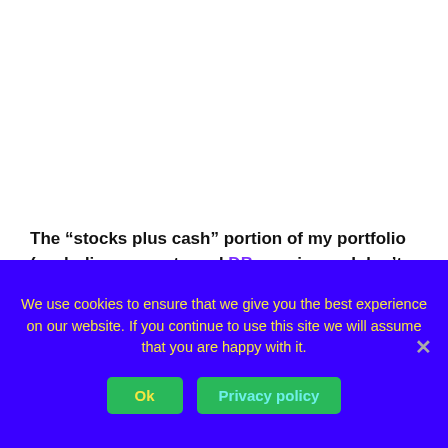The “stocks plus cash” portion of my portfolio (excluding property and DB pensions – I don’t hold any bonds), which is what most people report on, is up 16.7% after allowing for net cash withdrawals.
We use cookies to ensure that we give you the best experience on our website. If you continue to use this site we will assume that you are happy with it.